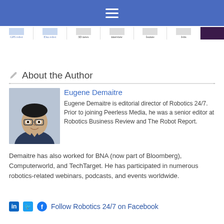[Figure (screenshot): Blue navigation header bar with hamburger menu icon and a navigation strip with article thumbnails below]
About the Author
[Figure (photo): Headshot photo of Eugene Demaitre, a man with glasses]
Eugene Demaitre
Eugene Demaitre is editorial director of Robotics 24/7. Prior to joining Peerless Media, he was a senior editor at Robotics Business Review and The Robot Report. Demaitre has also worked for BNA (now part of Bloomberg), Computerworld, and TechTarget. He has participated in numerous robotics-related webinars, podcasts, and events worldwide.
Follow Robotics 24/7 on Facebook